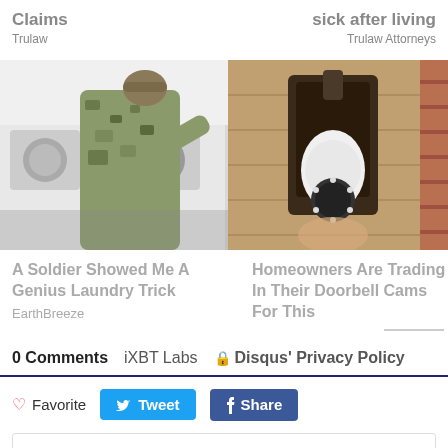Claims
Trulaw
sick after living
Trulaw Attorneys
[Figure (photo): A soldier in camouflage uniform loading laundry into a washing machine]
[Figure (photo): A security camera shaped like a light bulb mounted in an outdoor lantern fixture]
A Soldier Showed Me A Genius Laundry Trick
EarthBreeze
Homeowners Are Trading In Their Doorbell Cams For This
0 Comments
iXBT Labs
Disqus' Privacy Policy
Favorite
Tweet
Share